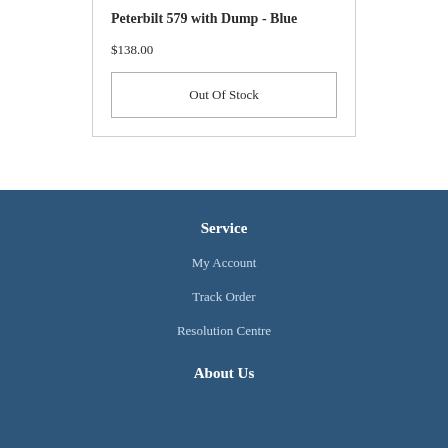Peterbilt 579 with Dump - Blue
$138.00
Out Of Stock
Service
My Account
Track Order
Resolution Centre
About Us